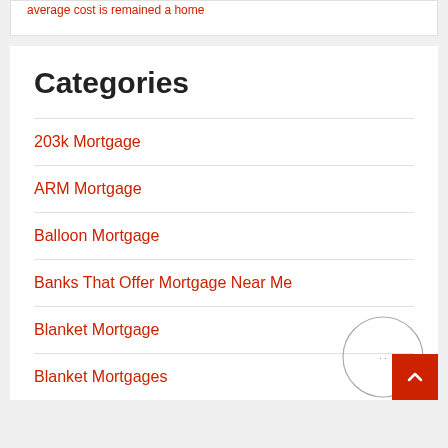average cost is remained a home
Categories
203k Mortgage
ARM Mortgage
Balloon Mortgage
Banks That Offer Mortgage Near Me
Blanket Mortgage
Blanket Mortgages